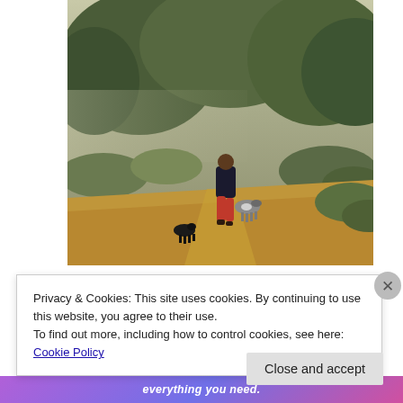[Figure (photo): A person in a dark jacket and red pants walking away on a dry grassy trail, accompanied by two dogs (one black near the person, one black and white further back), surrounded by shrubs and trees in soft morning light.]
Privacy & Cookies: This site uses cookies. By continuing to use this website, you agree to their use.
To find out more, including how to control cookies, see here: Cookie Policy
Close and accept
everything you need.